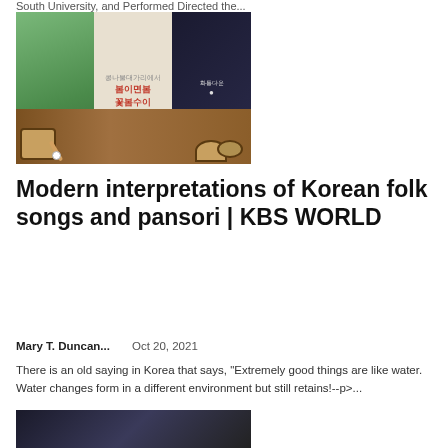South University, and Performed Directed the...
[Figure (photo): Album art or promotional image for Korean folk music with color squares at top, three panels showing a woman in white dress, Korean text, and performers on dark background, with traditional instruments in foreground on wooden surface]
Modern interpretations of Korean folk songs and pansori | KBS WORLD
Mary T. Duncan...    Oct 20, 2021
There is an old saying in Korea that says, "Extremely good things are like water. Water changes form in a different environment but still retains!--p>...
[Figure (photo): Partial view of another article image below, dark toned photo]